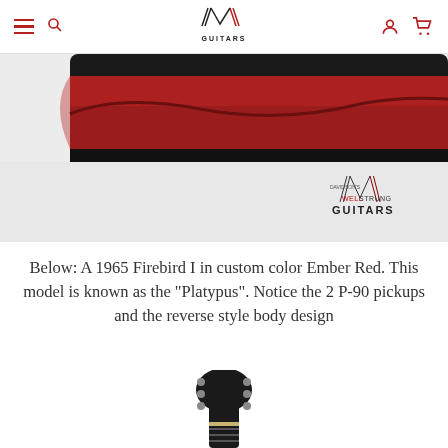Well Strung Guitars – navigation header with hamburger menu, search, logo, user icon, cart icon
[Figure (photo): Close-up photo of the body of a 1965 Gibson Firebird I in Ember Red (custom color), showing the reverse body style. A Well Strung Guitars watermark logo appears in the lower right corner of the image.]
Below: A 1965 Firebird I in custom color Ember Red. This model is known as the "Platypus". Notice the 2 P-90 pickups and the reverse style body design
[Figure (photo): Photo of the headstock of a Gibson Firebird guitar, showing tuning pegs, viewed from the front against a white background.]